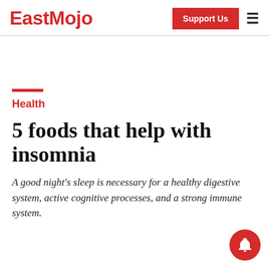EastMojo | Support Us
Health
5 foods that help with insomnia
A good night's sleep is necessary for a healthy digestive system, active cognitive processes, and a strong immune system.